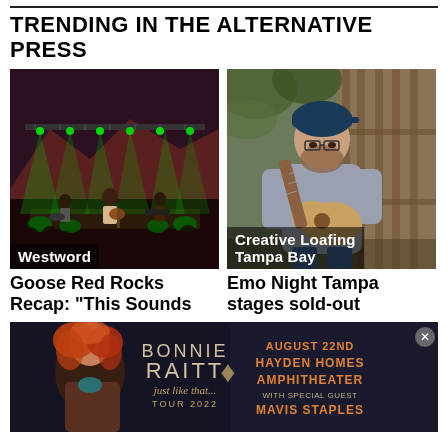TRENDING IN THE ALTERNATIVE PRESS
[Figure (photo): Concert photo with green stage lights, band performing at Red Rocks, labeled Westword]
[Figure (photo): Young man with beard playing acoustic guitar outdoors, labeled Creative Loafing Tampa Bay]
Goose Red Rocks Recap: "This Sounds
Emo Night Tampa stages sold-out
[Figure (photo): Advertisement for Bonnie Raitt Just Like That Tour 2022, August 22nd, Hayden Homes Amphitheater, with special guest Mavis Staples]